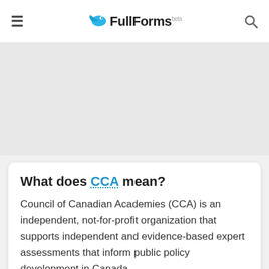FullForms (beta)
[Figure (other): Advertisement/banner gray placeholder area]
What does CCA mean?
Council of Canadian Academies (CCA) is an independent, not-for-profit organization that supports independent and evidence-based expert assessments that inform public policy development in Canada.
Search
Share